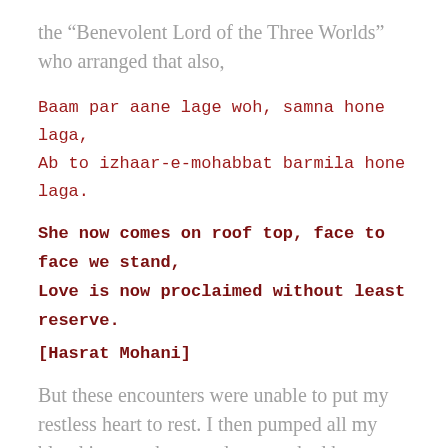the “Benevolent Lord of the Three Worlds” who arranged that also,
Baam par aane lage woh, samna hone laga,
Ab to izhaar-e-mohabbat barmila hone laga.
She now comes on roof top, face to face we stand,
Love is now proclaimed without least reserve.
[Hasrat Mohani]
But these encounters were unable to put my restless heart to rest. I then pumped all my blood into my heart and approached her, one day. I stopped her. She stopped. Smiled. I opened my